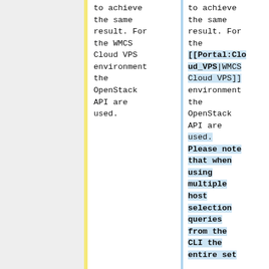to achieve the same result. For the WMCS Cloud VPS environment the OpenStack API are used.
to achieve the same result. For the [[Portal:Cloud_VPS|WMCS Cloud VPS]] environment the OpenStack API are used. Please note that when using multiple host selection queries from the CLI the entire set